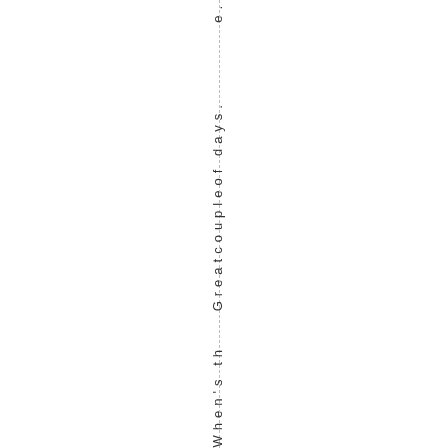e.  Greatcouple of days.  When's th
e.
Great couple of days.
When's th